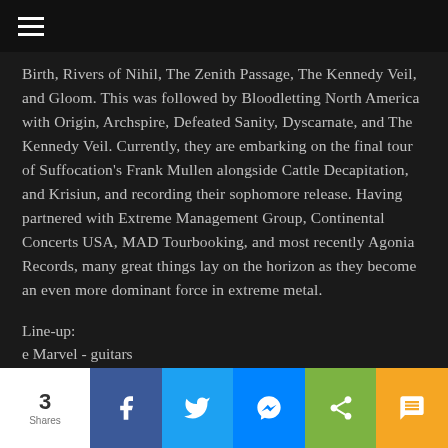≡
Birth, Rivers of Nihil, The Zenith Passage, The Kennedy Veil, and Gloom. This was followed by Bloodletting North America with Origin, Archspire, Defeated Sanity, Dyscarnate, and The Kennedy Veil. Currently, they are embarking on the final tour of Suffocation's Frank Mullen alongside Cattle Decapitation, and Krisiun, and recording their sophomore release. Having partnered with Extreme Management Group, Continental Concerts USA, MAD Tourbooking, and most recently Agonia Records, many great things lay on the horizon as they become an even more dominant force in extreme metal.
Line-up:
e Marvel - guitars
3 Shares | Facebook | Twitter | Messenger | Share | SMS